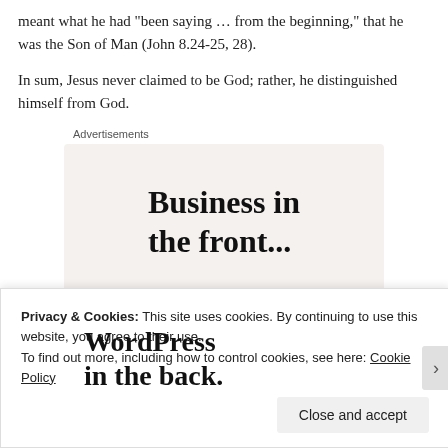meant what he had “been saying … from the beginning,” that he was the Son of Man (John 8.24-25, 28).
In sum, Jesus never claimed to be God; rather, he distinguished himself from God.
Advertisements
[Figure (other): Advertisement image with two sections: top section on light beige background reading 'Business in the front...' in large bold serif text; bottom section with colorful orange/pink gradient blobs reading 'WordPress in the back.' in large bold serif text]
Privacy & Cookies: This site uses cookies. By continuing to use this website, you agree to their use.
To find out more, including how to control cookies, see here: Cookie Policy
Close and accept